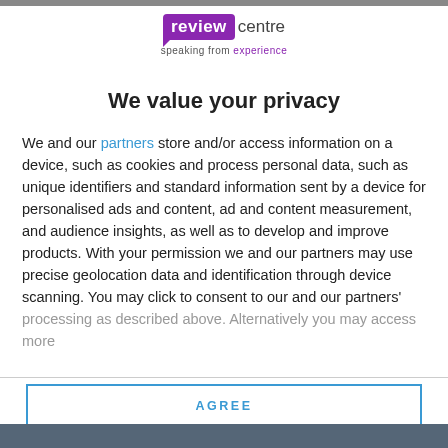[Figure (logo): Review Centre logo: purple speech bubble with 'review' in white, 'centre' in dark grey, tagline 'speaking from experience' below]
We value your privacy
We and our partners store and/or access information on a device, such as cookies and process personal data, such as unique identifiers and standard information sent by a device for personalised ads and content, ad and content measurement, and audience insights, as well as to develop and improve products. With your permission we and our partners may use precise geolocation data and identification through device scanning. You may click to consent to our and our partners' processing as described above. Alternatively you may access more
AGREE
MORE OPTIONS